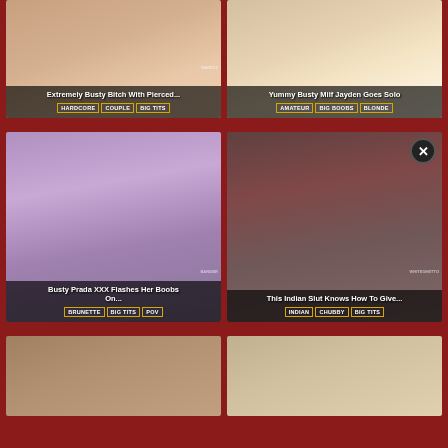[Figure (photo): Thumbnail: Extremely Busty Bitch With Pierced... tags: HARDCORE, COUPLE, BIG TITS]
[Figure (photo): Thumbnail: Yummy Busty Milf Jayden Goes Solo, tags: AMATEUR, BIG BOOBS, BLONDE]
[Figure (photo): Thumbnail: Busty Prada XXX Flashes Her Boobs On... tags: BRUNETTE, BIG TITS, POV]
[Figure (photo): Thumbnail: This Indian Slut Knows How To Give... tags: INDIAN, CHUBBY, BIG TITS, with close X button]
[Figure (photo): Thumbnail bottom left, partially visible]
[Figure (photo): Thumbnail bottom right, partially visible]